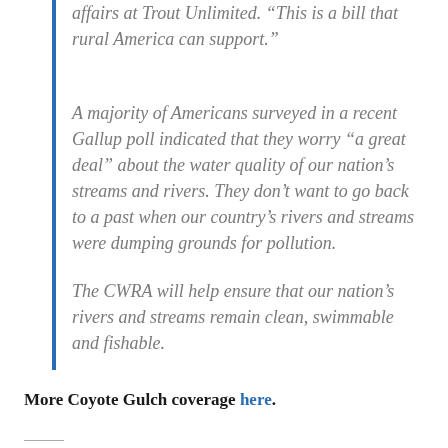affairs at Trout Unlimited. “This is a bill that rural America can support.”
A majority of Americans surveyed in a recent Gallup poll indicated that they worry “a great deal” about the water quality of our nation’s streams and rivers. They don’t want to go back to a past when our country’s rivers and streams were dumping grounds for pollution.
The CWRA will help ensure that our nation’s rivers and streams remain clean, swimmable and fishable.
More Coyote Gulch coverage here.